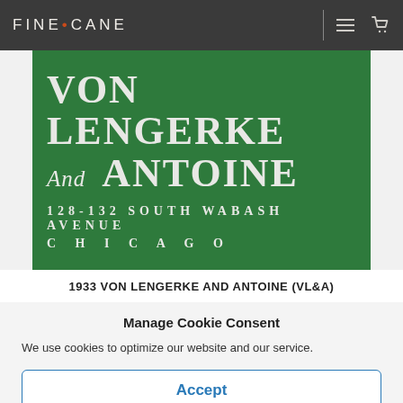FINE • CANE
[Figure (photo): Green background sign reading 'VON LENGERKE And ANTOINE 128-132 SOUTH WABASH AVENUE CHICAGO' in white serif lettering]
1933 VON LENGERKE AND ANTOINE (VL&A)
Manage Cookie Consent
We use cookies to optimize our website and our service.
Accept